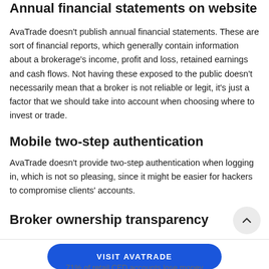Annual financial statements on website
AvaTrade doesn't publish annual financial statements. These are sort of financial reports, which generally contain information about a brokerage's income, profit and loss, retained earnings and cash flows. Not having these exposed to the public doesn't necessarily mean that a broker is not reliable or legit, it's just a factor that we should take into account when choosing where to invest or trade.
Mobile two-step authentication
AvaTrade doesn't provide two-step authentication when logging in, which is not so pleasing, since it might be easier for hackers to compromise clients' accounts.
Broker ownership transparency
VISIT AVATRADE
71% of retail CFD accounts lose money